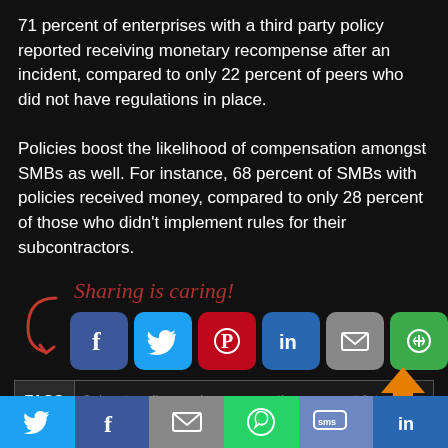71 percent of enterprises with a third party policy reported receiving monetary recompense after an incident, compared to only 22 percent of peers who did not have regulations in place.
Policies boost the likelihood of compensation amongst SMBs as well. For instance, 68 percent of SMBs with policies received money, compared to only 28 percent of those who didn't implement rules for their subcontractors.
[Figure (infographic): Sharing is caring! social sharing buttons for Facebook, Twitter, Pinterest, LinkedIn, Email, and More (green icon) with a red arrow graphic pointing to the buttons.]
TAGS  3rd party polices make compensation easy post 1st polic...
[Figure (infographic): Bottom bar with social sharing icons: Twitter (blue), Facebook (dark blue), Email (grey), WhatsApp (green), SMS (blue-grey), LinkedIn (blue).]